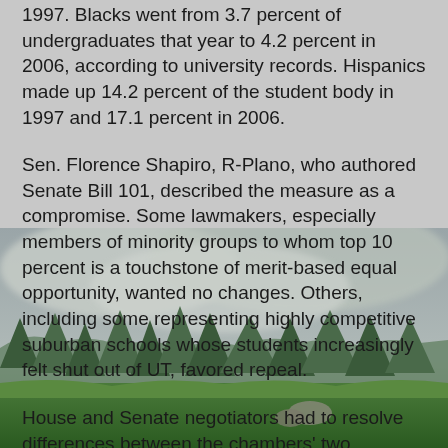1997. Blacks went from 3.7 percent of undergraduates that year to 4.2 percent in 2006, according to university records. Hispanics made up 14.2 percent of the student body in 1997 and 17.1 percent in 2006.
Sen. Florence Shapiro, R-Plano, who authored Senate Bill 101, described the measure as a compromise. Some lawmakers, especially members of minority groups to whom top 10 percent is a touchstone of merit-based equal opportunity, wanted no changes. Others, including some representing highly competitive suburban schools whose students increasingly felt shut out of UT, favored repeal.
House and Senate negotiators had to resolve differences between the chambers' two versions. The Senate had included an amendment by Sen. Steve Ogden, R-Bryan, intended to award each top 10 percent student in the state a $1,500 scholarship annually. Morrison was resistant, arguing that it makes no sense to offer merit-based aid when the state has not yet fully funded aid for students with financial need.
[Figure (photo): Outdoor landscape photo showing trees and greenery with an overcast sky, partially obscuring the lower portion of the text.]